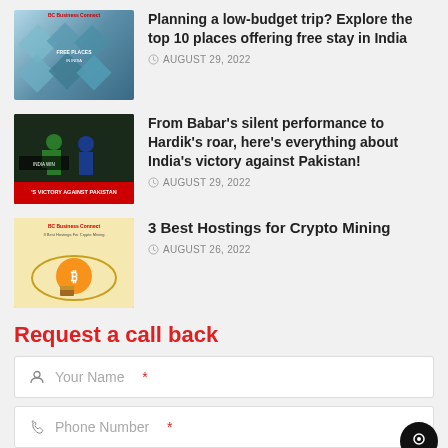Planning a low-budget trip? Explore the top 10 places offering free stay in India — AUGUST 29, 2022
From Babar's silent performance to Hardik's roar, here's everything about India's victory against Pakistan! — AUGUST 29, 2022
3 Best Hostings for Crypto Mining — AUGUST 26, 2022
Request a call back
Your Name *
Phone Number *